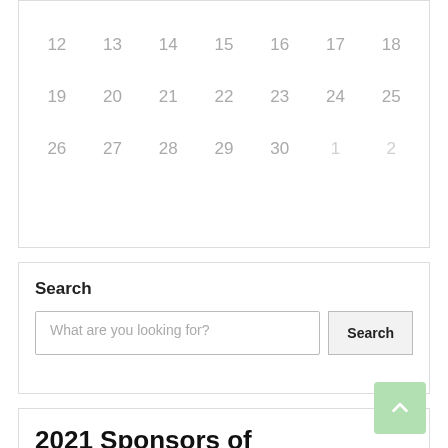[Figure (other): Calendar grid showing dates 12-18, 19-25, 26-30 and 1-2 (next month in faded style)]
Search
What are you looking for?
Search
2021 Sponsors of